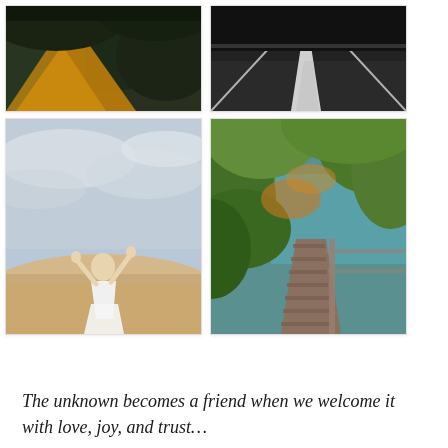[Figure (photo): Person near yellow tent in dark forest, top portion cropped]
[Figure (photo): Dark asphalt road with white lines, top portion cropped]
[Figure (photo): Person in white dress on beach raising arms toward sky]
[Figure (photo): Wooden boardwalk path surrounded by green trees and foliage with water visible]
The unknown becomes a friend when we welcome it with love, joy, and trust…